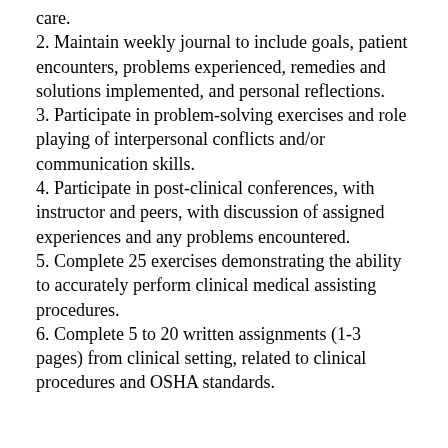care.
2. Maintain weekly journal to include goals, patient encounters, problems experienced, remedies and solutions implemented, and personal reflections.
3. Participate in problem-solving exercises and role playing of interpersonal conflicts and/or communication skills.
4. Participate in post-clinical conferences, with instructor and peers, with discussion of assigned experiences and any problems encountered.
5. Complete 25 exercises demonstrating the ability to accurately perform clinical medical assisting procedures.
6. Complete 5 to 20 written assignments (1-3 pages) from clinical setting, related to clinical procedures and OSHA standards.